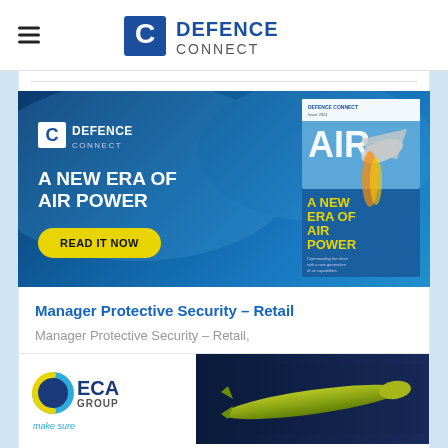Defence Connect
[Figure (infographic): Defence Connect advertisement banner: blue gradient background, Defence Connect logo, headline 'A NEW ERA OF AIR POWER', yellow 'READ IT NOW' button, magazine cover on right]
Manager Protective Security – Retail
Manager Protective Security – Retail,
[Figure (logo): ECA Group advertisement banner with logo and 'make sure' tagline, dark background with yellow torpedo/underwater vehicle image]